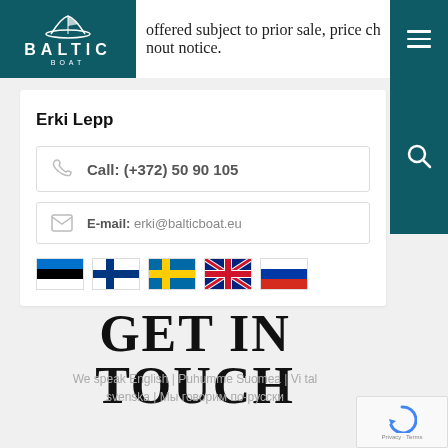offered subject to prior sale, price change without notice.
[Figure (logo): Baltic Boat logo — white boat icon above BALTIC BOAT text on teal background]
Erki Lepp
Call: (+372) 50 90 105
E-mail: erki@balticboat.eu
[Figure (illustration): Five country flags: Estonia, Finland, Sweden, United Kingdom, Russia]
GET IN TOUCH
We speak English | Puhumme Suomea | Vi talar svenska | Мы говорим по-русски